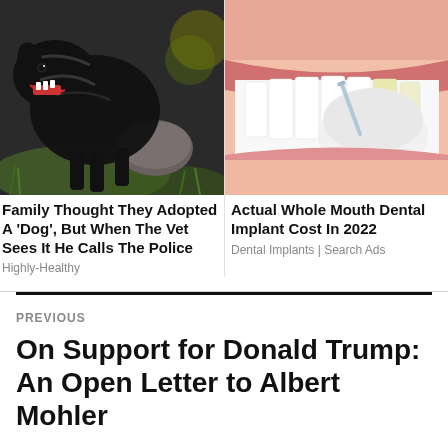[Figure (photo): Black dog/animal snarling, standing on grass near a rock]
[Figure (photo): Close-up of a woman's mouth with white teeth and a dental tool being applied by gloved hands]
Family Thought They Adopted A 'Dog', But When The Vet Sees It He Calls The Police
Highly-Healthy
Actual Whole Mouth Dental Implant Cost In 2022
Dental Implants | Search Ads
PREVIOUS
On Support for Donald Trump: An Open Letter to Albert Mohler